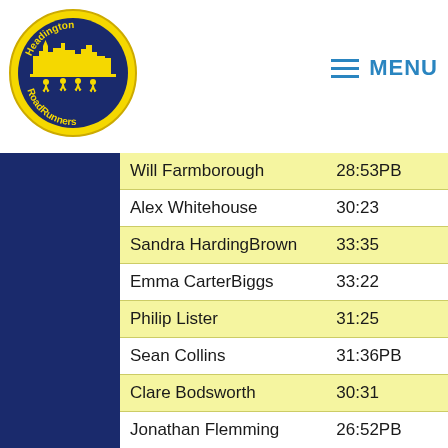[Figure (logo): Headington RoadRunners club logo: circular badge with yellow runners silhouette and cityscape on navy background]
MENU
| Name | Time |
| --- | --- |
| Will Farmborough | 28:53PB |
| Alex Whitehouse | 30:23 |
| Sandra HardingBrown | 33:35 |
| Emma CarterBiggs | 33:22 |
| Philip Lister | 31:25 |
| Sean Collins | 31:36PB |
| Clare Bodsworth | 30:31 |
| Jonathan Flemming | 26:52PB |